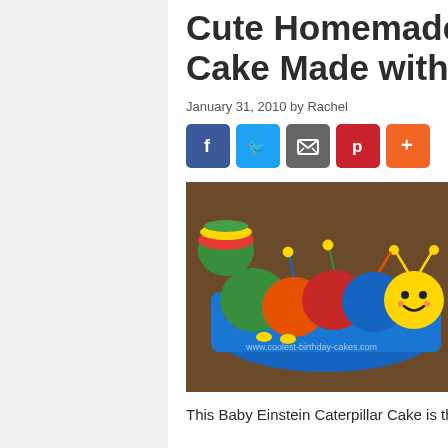Cute Homemade Baby Einstein Caterpillar Cake Made with Wilton Sports Ball Pan
January 31, 2010 by Rachel
[Figure (other): Social sharing buttons: Facebook, Twitter, Email, Pinterest, and a + button]
[Figure (photo): Photo of a Baby Einstein Caterpillar Cake made with Wilton Sports Ball Pan, showing colorful spherical cake segments on a blue tray resembling a caterpillar with a yellow smiley face head]
This Baby Einstein Caterpillar Cake is the first cake I've ever done, so I can't f...